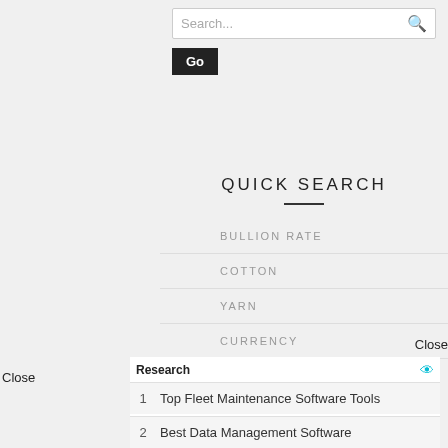[Figure (screenshot): Search input box with placeholder text 'Search...' and a magnifying glass icon, followed by a black 'Go' button]
QUICK SEARCH
BULLION RATE
COTTON
YARN
CURRENCY
EXCHANGE
Close
Close
Research
1  Top Fleet Maintenance Software Tools
2  Best Data Management Software
Yahoo! Search | Sponsored